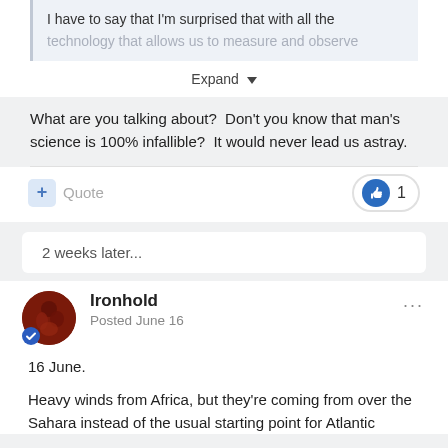I have to say that I'm surprised that with all the technology that allows us to measure and observe
Expand
What are you talking about?  Don't you know that man's science is 100% infallible?  It would never lead us astray.
Quote  1
2 weeks later...
Ironhold
Posted June 16
16 June.
Heavy winds from Africa, but they're coming from over the Sahara instead of the usual starting point for Atlantic